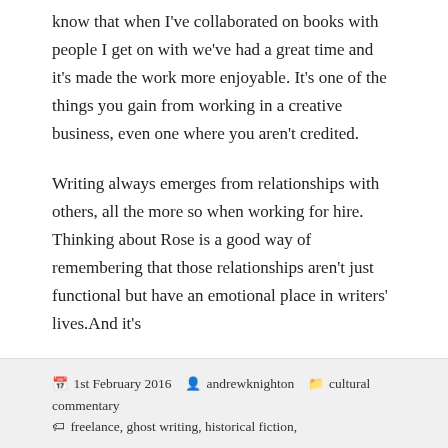know that when I've collaborated on books with people I get on with we've had a great time and it's made the work more enjoyable. It's one of the things you gain from working in a creative business, even one where you aren't credited.
Writing always emerges from relationships with others, all the more so when working for hire. Thinking about Rose is a good way of remembering that those relationships aren't just functional but have an emotional place in writers' lives.And it's
And it's good to see that, just occasionally, a ghost-writer can get the credit in the end. Good on you, Rose Wilder Lane.
1st February 2016  andrewknighton  cultural commentary  freelance, ghost writing, historical fiction,